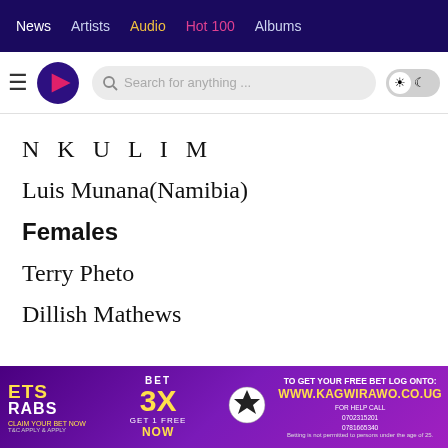News  Artists  Audio  Hot 100  Albums
[Figure (screenshot): Website header with logo, search bar, and light/dark toggle]
NKULIM
Luis Munana(Namibia)
Females
Terry Pheto
Dillish Mathews
[Figure (photo): Advertisement banner for Kagwirawo betting site: BET 3X, GET 1 FREE, WWW.KAGWIRAWO.CO.UG]